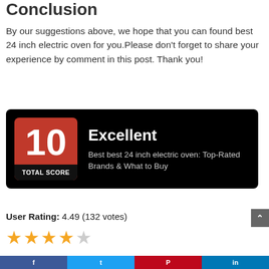Conclusion
By our suggestions above, we hope that you can found best 24 inch electric oven for you.Please don't forget to share your experience by comment in this post. Thank you!
[Figure (infographic): Score card with black background. Red badge showing '10' and 'TOTAL SCORE'. Text: 'Excellent' and 'Best best 24 inch electric oven: Top-Rated Brands & What to Buy']
User Rating: 4.49 (132 votes)
[Figure (other): 4 filled gold stars and 1 empty/grey star rating display]
Social share bar: Facebook, Twitter, Pinterest, LinkedIn